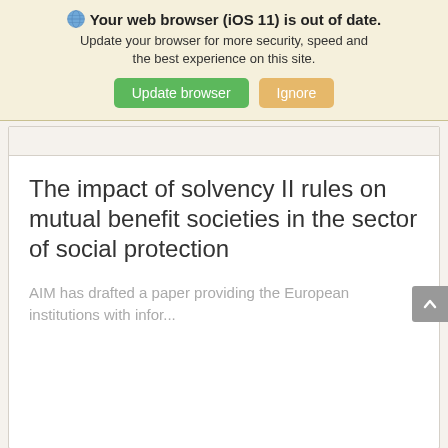[Figure (screenshot): Browser update notification banner with globe icon, bold title 'Your web browser (iOS 11) is out of date.', subtitle text, and two buttons: 'Update browser' (green) and 'Ignore' (tan/yellow).]
The impact of solvency II rules on mutual benefit societies in the sector of social protection
AIM has drafted a paper providing the European institutions with infor...